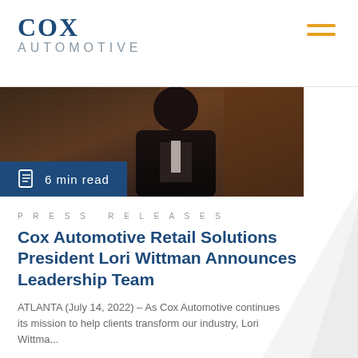Cox Automotive
[Figure (photo): Portrait photo of a person in dark clothing, partially visible. Overlaid with a dark blue badge reading '6 min read' with a document icon.]
6 min read
PRESS RELEASES
Cox Automotive Retail Solutions President Lori Wittman Announces Leadership Team
ATLANTA (July 14, 2022) – As Cox Automotive continues its mission to help clients transform our industry, Lori Wittma...
READ ARTICLE